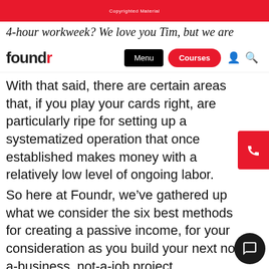Copyrighted Material
4-hour workweek? We love you Tim, but we are
foundr | Menu | Courses
With that said, there are certain areas that, if you play your cards right, are particularly ripe for setting up a systematized operation that once established makes money with a relatively low level of ongoing labor.
So here at Foundr, we’ve gathered up what we consider the six best methods for creating a passive income, for your consideration as you build your next not-a-business, not-a-job project.